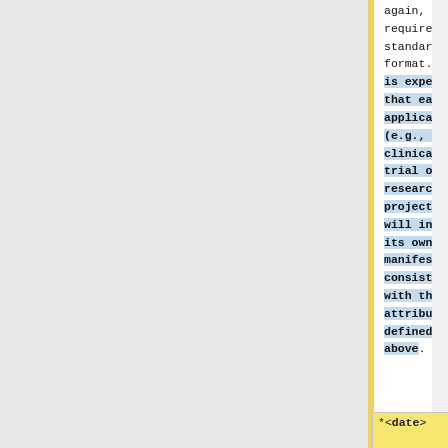again, there is no required standard format. It is expected that each application (e.g., each clinical trial or research project) will invent its own manifest consistent with the attributes defined above.
*<b>date</b>